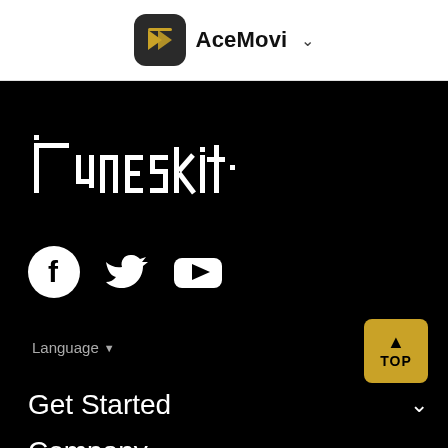AceMovi
[Figure (logo): TunesKit logo in white on black background]
[Figure (illustration): Social media icons: Facebook, Twitter, YouTube in white]
Language
[Figure (other): TOP button - golden/yellow square with up arrow and TOP text]
Get Started
Company